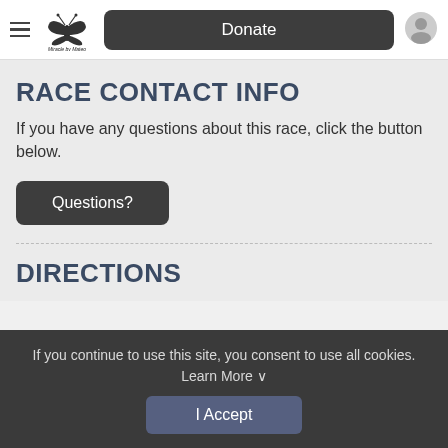Miracle by Mateo | Donate
RACE CONTACT INFO
If you have any questions about this race, click the button below.
Questions?
DIRECTIONS
If you continue to use this site, you consent to use all cookies. Learn More ∨
I Accept